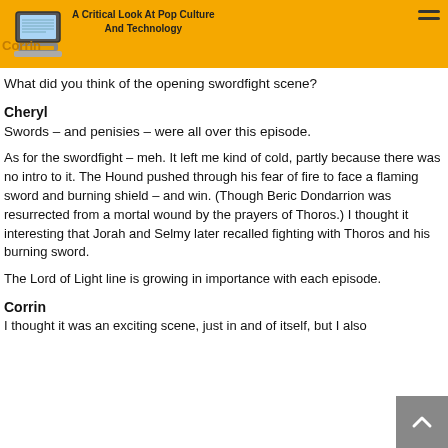A Critical Look At Pop Culture And Technology
What did you think of the opening swordfight scene?
Cheryl
Swords – and penisies – were all over this episode.
As for the swordfight – meh. It left me kind of cold, partly because there was no intro to it. The Hound pushed through his fear of fire to face a flaming sword and burning shield – and win. (Though Beric Dondarrion was resurrected from a mortal wound by the prayers of Thoros.) I thought it interesting that Jorah and Selmy later recalled fighting with Thoros and his burning sword.
The Lord of Light line is growing in importance with each episode.
Corrin
I thought it was an exciting scene, just in and of itself, but I also